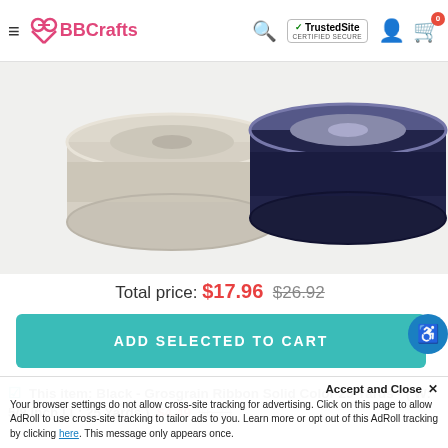BBCrafts — TrustedSite CERTIFIED SECURE
[Figure (photo): Two spools of grosgrain ribbon side by side. Left spool is cream/off-white, right spool is navy/dark blue. Set against a light gray background.]
Total price: $17.96  $26.92
ADD SELECTED TO CART
This item: Black - Grosgrain Ribbon Solid Color 25 Yards - ( W: 5/8 inch | L: 25 Yards )  $4.49  $6.73
Accept and Close ×
Your browser settings do not allow cross-site tracking for advertising. Click on this page to allow AdRoll to use cross-site tracking to tailor ads to you. Learn more or opt out of this AdRoll tracking by clicking here. This message only appears once.